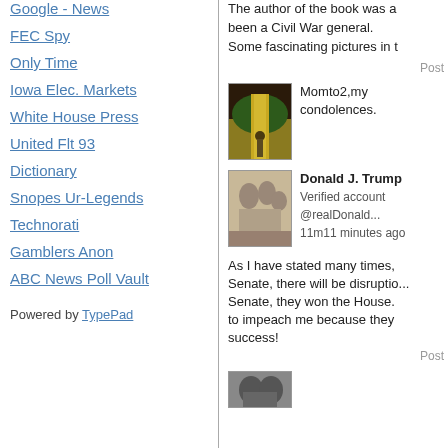Google - News
FEC Spy
Only Time
Iowa Elec. Markets
White House Press
United Flt 93
Dictionary
Snopes Ur-Legends
Technorati
Gamblers Anon
ABC News Poll Vault
Powered by TypePad
The author of the book was a... been a Civil War general. Some fascinating pictures in t...
Post
[Figure (photo): Thumbnail image showing a figure on a yellow brick road style path with greenery]
Momto2,my condolences.
[Figure (photo): Sepia/black and white thumbnail photo of a group of people]
Donald J. Trump
Verified account @realDonald...
11m11 minutes ago

As I have stated many times, Senate, there will be disruptio... Senate, they won the House. to impeach me because they success!
Post
[Figure (photo): Partially visible thumbnail image at bottom]